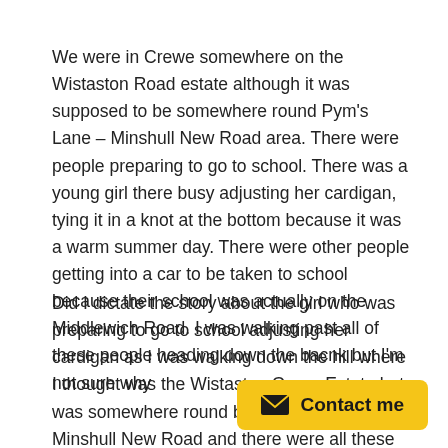We were in Crewe somewhere on the Wistaston Road estate although it was supposed to be somewhere round Pym's Lane – Minshull New Road area. There were people preparing to go to school. There was a young girl there busy adjusting her cardigan, tying it in a knot at the bottom because it was a warm summer day. There were other people getting into a car to be taken to school because their school was actually on the Middlewich Road. I was walking past all of these people heading down the bacnk but I'm not sure why
Did I dictate the story about the girl who was preparing to go to school adjusting her cardigan as I was walking down the hill where I thought was the Wistaston Green Estate but was somewhere round by Pym's Lane – Minshull New Road and there were all these people there preparing to go to school